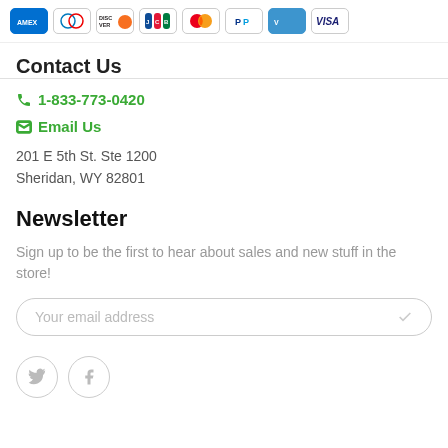[Figure (logo): Payment method logos: AMEX, Diners Club, Discover, JCB, Mastercard, PayPal, Venmo, Visa]
Contact Us
1-833-773-0420
Email Us
201 E 5th St. Ste 1200
Sheridan, WY 82801
Newsletter
Sign up to be the first to hear about sales and new stuff in the store!
Your email address
[Figure (illustration): Twitter and Facebook social media icons in gray circles]